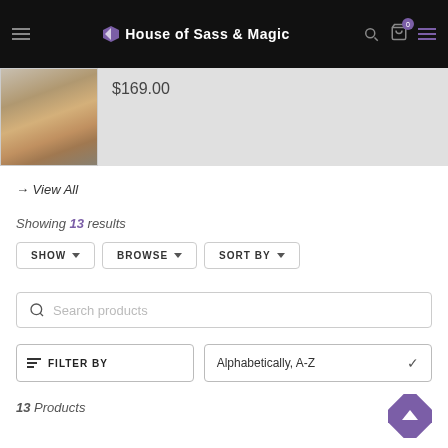House of Sass & Magic
[Figure (photo): Product thumbnail showing lower half of woman in patterned dress and heels]
$169.00
→ View All
Showing 13 results
SHOW  BROWSE  SORT BY
Search products
FILTER BY
Alphabetically, A-Z
13 Products